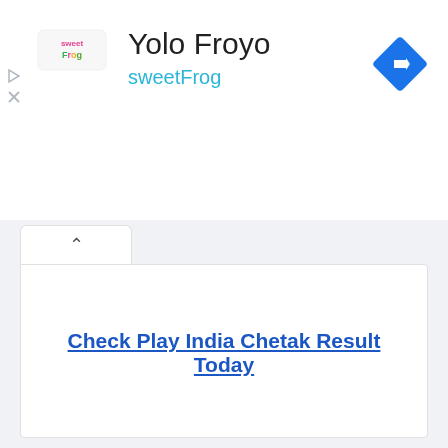[Figure (logo): sweetFrog logo with colorful text]
Yolo Froyo
sweetFrog
[Figure (other): Blue diamond navigation/turn arrow icon]
Check Play India Chetak Result Today